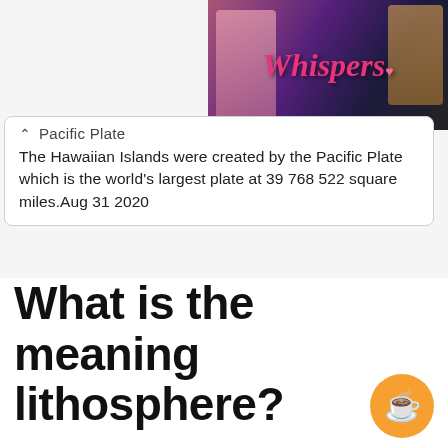[Figure (screenshot): Whispers interactive story app promotional image with dark purple/navy background, showing romantic comic-style characters and the stylized 'Whispers' logo in pink cursive font]
Pacific Plate
The Hawaiian Islands were created by the Pacific Plate which is the world's largest plate at 39 768 522 square miles.Aug 31 2020
What is the meaning lithosphere?
The lithosphere is the solid outer part of the Earth. The lithosphere includes the brittle upper portion of the mantle and the crust the outermost layers of Earth's